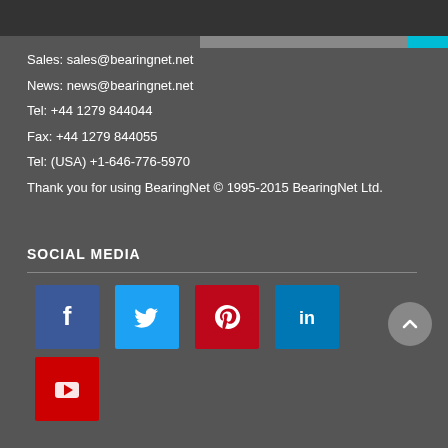Sales: sales@bearingnet.net
News: news@bearingnet.net
Tel: +44 1279 844044
Fax: +44 1279 844055
Tel: (USA) +1-646-776-5970
Thank you for using BearingNet © 1995-2015 BearingNet Ltd.
SOCIAL MEDIA
[Figure (infographic): Social media icons: Facebook (blue), Twitter (light blue), Pinterest (red), LinkedIn (blue), YouTube (red)]